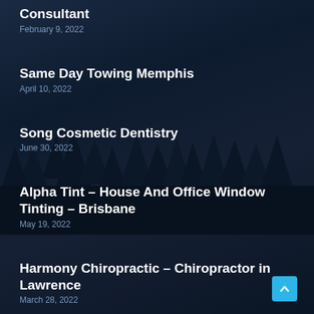Consultant
February 9, 2022
Same Day Towing Memphis
April 10, 2022
Song Cosmetic Dentistry
June 30, 2022
Alpha Tint – House And Office Window Tinting – Brisbane
May 19, 2022
Harmony Chiropractic – Chiropractor in Lawrence
March 28, 2022